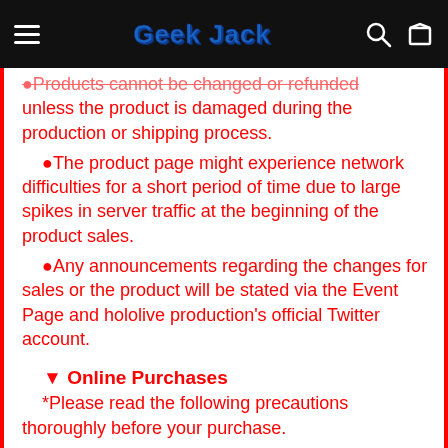Geek Jack
●Products cannot be changed or refunded unless the product is damaged during the production or shipping process.
●The product page might experience network difficulties for a short period of time due to large spikes in server traffic at the beginning of the product sales.
●Any announcements regarding the changes for sales or the product will be stated via the Event Page and hololive production's official Twitter account.
▼ Online Purchases
*Please read the following precautions thoroughly before your purchase.
▼ Sales Period